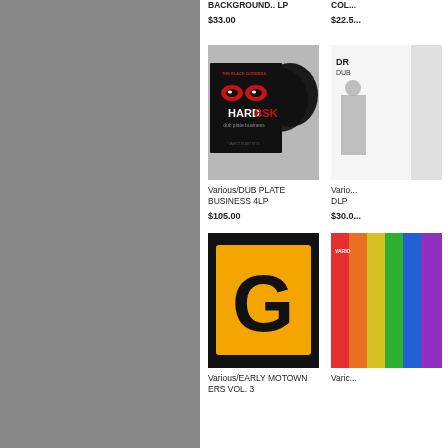[Figure (screenshot): E-commerce product listing page showing vinyl records for sale. Left sidebar is grey. Right content area shows product cards in a grid layout.]
BACKGROUND.. LP
$33.00
COLO
$22.5
[Figure (photo): Various/DUB PLATE BUSINESS 4LP - album cover showing HARD DSK branding with angry eyes logo and vinyl records]
Various/DUB PLATE BUSINESS 4LP
$105.00
[Figure (photo): Right column product - DLP partial view]
Vario DLP
$30.0
[Figure (photo): Various/EARLY MOTOWN ERS VOL. 3 - album cover showing large orange G logo on black background]
Various/EARLY MOTOWN ERS VOL. 3
[Figure (photo): Right column bottom product - colorful album art partially visible]